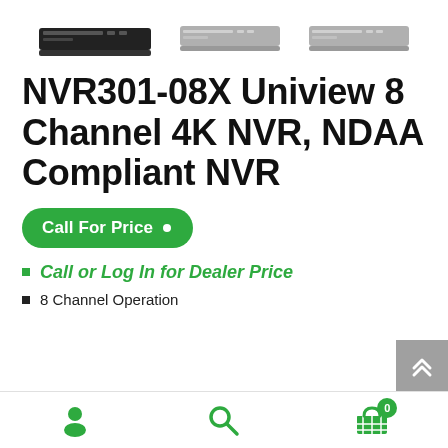[Figure (photo): Three NVR device images shown horizontally: a black NVR unit on the left, a light gray NVR unit in the center, and another light gray NVR unit on the right.]
NVR301-08X Uniview 8 Channel 4K NVR, NDAA Compliant NVR
Call For Price
Call or Log In for Dealer Price
8 Channel Operation